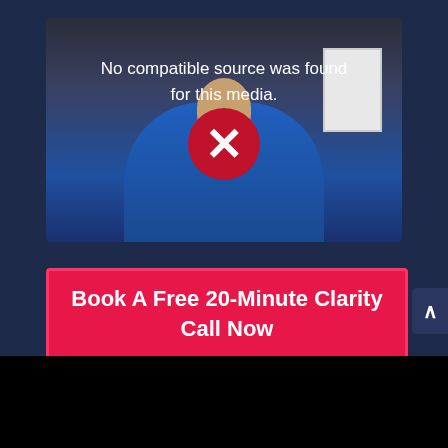[Figure (screenshot): Video player showing error message 'No compatible source was found for this media.' with a red X icon overlay on a person wearing headphones in a blue sweater, with a whiteboard visible in the background]
No compatible source was found for this media.
Book A Free 20-Minute Clarity Call Now